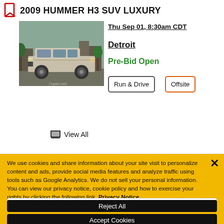2009 HUMMER H3 SUV LUXURY
[Figure (photo): Silver 2009 Hummer H3 SUV parked on a street]
Thu Sep 01, 8:30am CDT
Detroit
Pre-Bid Open
Run & Drive
Offsite
View All
We use cookies and share information about your site visit to personalize content and ads, provide social media features and analyze traffic using tools such as Google Analytics. We do not sell your personal information. You can view our privacy notice, cookie policy and how to exercise your rights by clicking the following link. Privacy Notice
Cookie Settings
Reject All
Accept Cookies